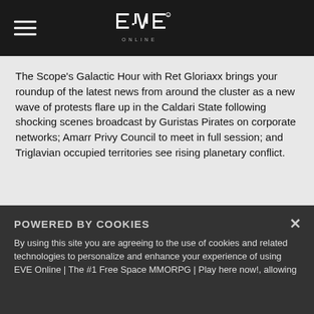EVE Online — Navigation header with hamburger menu and EVE ONLINE logo
The Scope's Galactic Hour with Ret Gloriaxx brings your roundup of the latest news from around the cluster as a new wave of protests flare up in the Caldari State following shocking scenes broadcast by Guristas Pirates on corporate networks; Amarr Privy Council to meet in full session; and Triglavian occupied territories see rising planetary conflict.
[Figure (photo): Dark space scene showing a planet with a golden ring or horizon glow against a starfield background]
POWERED BY COOKIES
By using this site you are agreeing to the use of cookies and related technologies to personalize and enhance your experience of using EVE Online | The #1 Free Space MMORPG | Play here now!, allowing